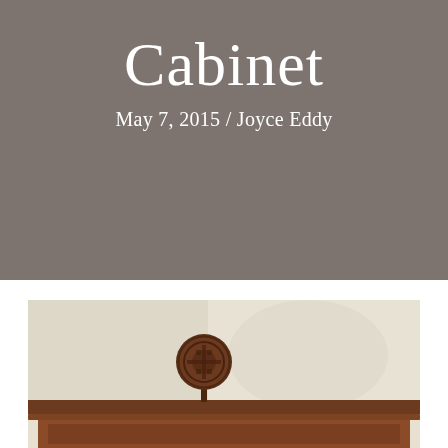Cabinet
May 7, 2015 / Joyce Eddy
[Figure (photo): A wooden cabinet or armoire top with an ornate circular carved decorative object displayed on top, set against a light beige wall. The cabinet has dark warm brown wood tones.]